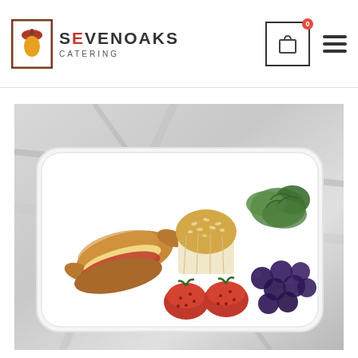SEVENOAKS CATERING — website header with logo, cart icon, and hamburger menu
[Figure (photo): Overhead photo of a white rectangular food container/tray on a marble surface, containing a croissant sandwich with tomato and cheese, a muffin in paper wrapper, fresh strawberries, black grapes, and green arugula leaves.]